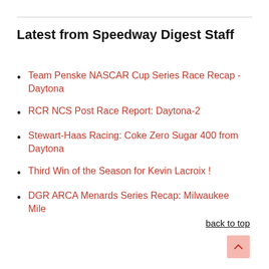Latest from Speedway Digest Staff
Team Penske NASCAR Cup Series Race Recap - Daytona
RCR NCS Post Race Report: Daytona-2
Stewart-Haas Racing: Coke Zero Sugar 400 from Daytona
Third Win of the Season for Kevin Lacroix !
DGR ARCA Menards Series Recap: Milwaukee Mile
back to top